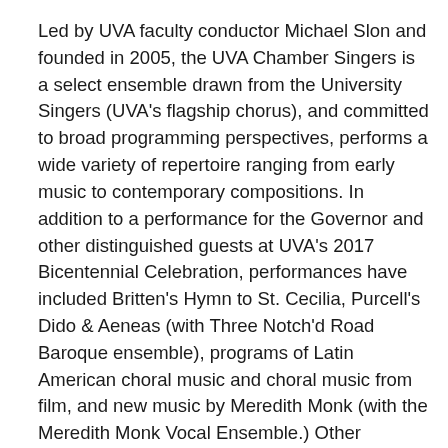Led by UVA faculty conductor Michael Slon and founded in 2005, the UVA Chamber Singers is a select ensemble drawn from the University Singers (UVA's flagship chorus), and committed to broad programming perspectives, performs a wide variety of repertoire ranging from early music to contemporary compositions. In addition to a performance for the Governor and other distinguished guests at UVA's 2017 Bicentennial Celebration, performances have included Britten's Hymn to St. Cecilia, Purcell's Dido & Aeneas (with Three Notch'd Road Baroque ensemble), programs of Latin American choral music and choral music from film, and new music by Meredith Monk (with the Meredith Monk Vocal Ensemble.) Other collaborations include concerts with the Staunton Music Festival, Victory Hall Opera (in a pioneering presentation of Poulenc opera scenes with deaf actors), and Charlottesville Chamber Music Festival. They've sung in workshop with UVA Chamber Singers Peter Phillips and members of the Tallis Scholars, and in 2014, were honored to perform for composer Philip Glass. They've also been heard in major works, at VMEA, and on tour in the U.S. and